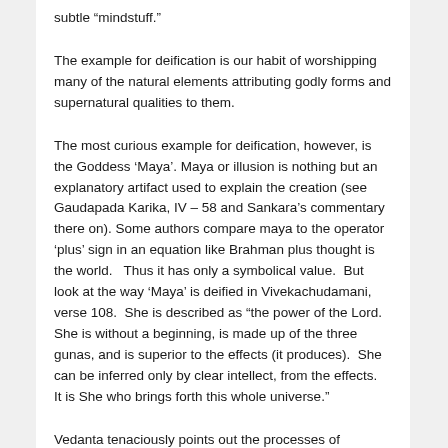subtle “mindstuff.”
The example for deification is our habit of worshipping many of the natural elements attributing godly forms and supernatural qualities to them.
The most curious example for deification, however, is the Goddess ‘Maya’. Maya or illusion is nothing but an explanatory artifact used to explain the creation (see Gaudapada Karika, IV – 58 and Sankara’s commentary there on). Some authors compare maya to the operator ‘plus’ sign in an equation like Brahman plus thought is the world.   Thus it has only a symbolical value.  But look at the way ‘Maya’ is deified in Vivekachudamani, verse 108.  She is described as “the power of the Lord.  She is without a beginning, is made up of the three gunas, and is superior to the effects (it produces).  She can be inferred only by clear intellect, from the effects.  It is She who brings forth this whole universe.”
Vedanta tenaciously points out the processes of